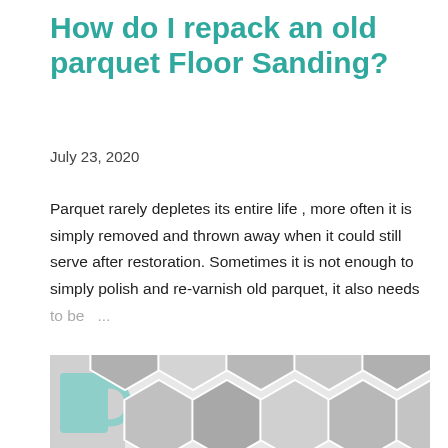How do I repack an old parquet Floor Sanding?
July 23, 2020
Parquet rarely depletes its entire life , more often it is simply removed and thrown away when it could still serve after restoration. Sometimes it is not enough to simply polish and re-varnish old parquet, it also needs to be ...
SHARE  POST A COMMENT  READ MORE
[Figure (photo): Photo of hexagonal floor tiles in grey and white tones, with a green ceramic mug partially visible on the left side.]